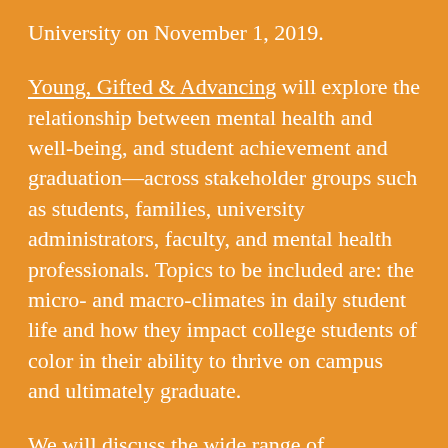University on November 1, 2019.
Young, Gifted & Advancing will explore the relationship between mental health and well-being, and student achievement and graduation—across stakeholder groups such as students, families, university administrators, faculty, and mental health professionals. Topics to be included are: the micro- and macro-climates in daily student life and how they impact college students of color in their ability to thrive on campus and ultimately graduate.
We will discuss the wide range of